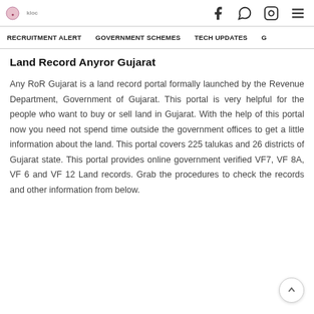RECRUITMENT ALERT   GOVERNMENT SCHEMES   TECH UPDATES
Land Record Anyror Gujarat
Any RoR Gujarat is a land record portal formally launched by the Revenue Department, Government of Gujarat. This portal is very helpful for the people who want to buy or sell land in Gujarat. With the help of this portal now you need not spend time outside the government offices to get a little information about the land. This portal covers 225 talukas and 26 districts of Gujarat state. This portal provides online government verified VF7, VF 8A, VF 6 and VF 12 Land records. Grab the procedures to check the records and other information from below.